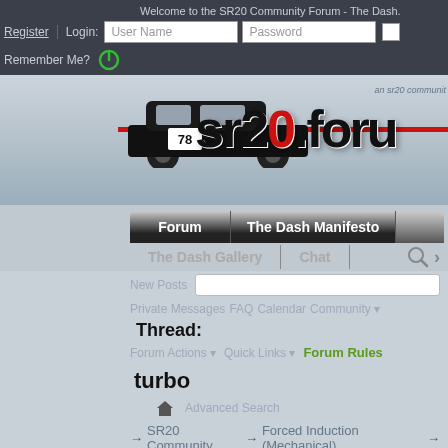Welcome to the SR20 Community Forum - The Dash.
Register | Login: User Name  Password
Remember Me?
[Figure (screenshot): SR20 Forum banner with race car #78 and sr20.forum logo with red dot]
Forum | The Dash Manifesto
The Dash Gallery | Chat
New Posts
Private Messages | FAQ | Calendar | Community
Thread: turbo
Forum Actions | Quick Links | Forum Rules
Advanced Search
→ SR20 Community → Forced Induction (Mechanical) →
turbo woes... woes...
+ Reply To Thread
1 2 3 5 ► Last